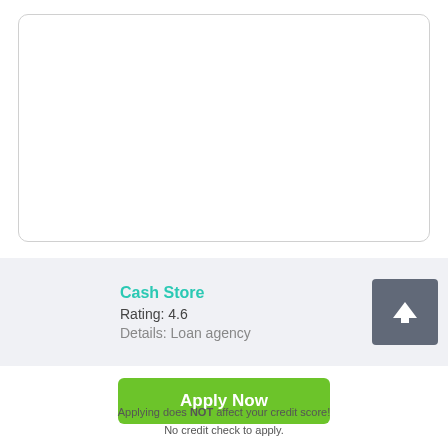[Figure (other): White rounded rectangle image placeholder area]
Cash Store
Rating: 4.6
Details: Loan agency
[Figure (other): Dark gray square button with white upward arrow icon]
Apply Now
Applying does NOT affect your credit score!
No credit check to apply.